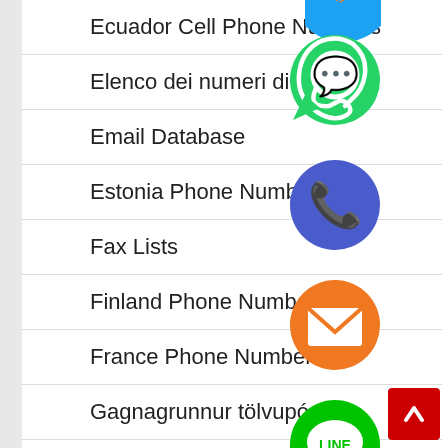Ecuador Cell Phone Numbers
Elenco dei numeri di te…
Email Database
Estonia Phone Numbers
Fax Lists
Finland Phone Numbers
France Phone Numbers
Gagnagrunnur tölvupósts
Georgia Phone Numbers
[Figure (infographic): Floating social/communication app icons overlaid on a navigation list: WhatsApp (green), Phone/Viber blue circle, Email orange envelope, LINE green chat bubble, Viber purple circle, green X close button, and a partially visible Twitter/blue circle at top.]